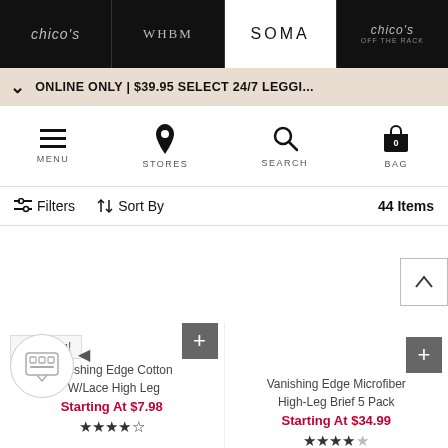chico's | WHBM | SOMA | chico's OFF THE RACK
ONLINE ONLY | $39.95 SELECT 24/7 LEGGI...
MENU | STORES | SEARCH | BAG 0
Filters  Sort By  44 Items
Trending!
Vanishing Edge Cotton W/Lace High Leg
Starting At $7.98
★★★★½
Vanishing Edge Microfiber High-Leg Brief 5 Pack
Starting At $34.99
★★★★½